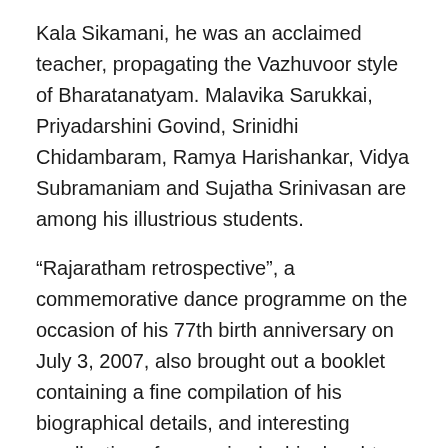Kala Sikamani, he was an acclaimed teacher, propagating the Vazhuvoor style of Bharatanatyam. Malavika Sarukkai, Priyadarshini Govind, Srinidhi Chidambaram, Ramya Harishankar, Vidya Subramaniam and Sujatha Srinivasan are among his illustrious students.
“Rajaratham retrospective”, a commemorative dance programme on the occasion of his 77th birth anniversary on July 3, 2007, also brought out a booklet containing a fine compilation of his biographical details, and interesting recollection of memories by his daughter and students . This can be accessed at http://rajarathnalaya.blogspot.com.
Mrs. Jayakamala Pandiyan is his daughter and Ms.Nrithya Pillai his grand daughter. Mrs.Jayakamala Pandiyan resides in Bangalore, where she teaches Bharathanatyam. Nrithya Pillai is known to carry on the same dance tradition.